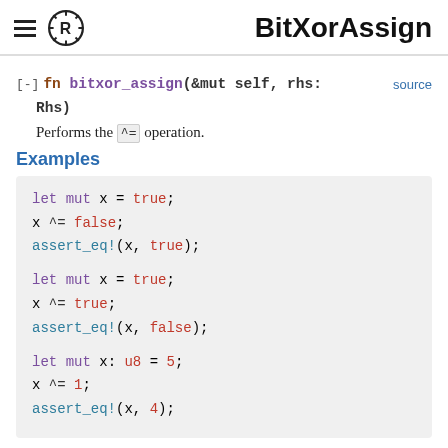BitXorAssign
[-] fn bitxor_assign(&mut self, rhs: Rhs)   source
Performs the ^= operation.
Examples
let mut x = true;
x ^= false;
assert_eq!(x, true);

let mut x = true;
x ^= true;
assert_eq!(x, false);

let mut x: u8 = 5;
x ^= 1;
assert_eq!(x, 4);